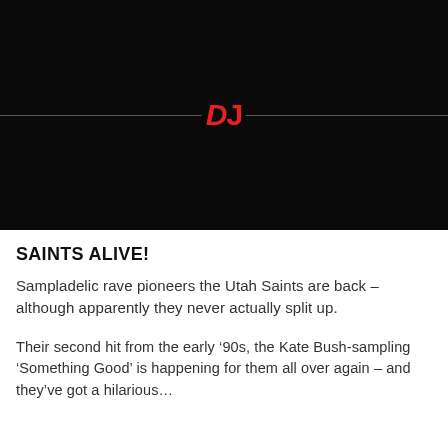[Figure (photo): Black background image with a DJ Mag logo centered on a horizontal dividing line. The logo shows 'DJ' in red italic/bold lettering against the dark background.]
SAINTS ALIVE!
Sampladelic rave pioneers the Utah Saints are back – although apparently they never actually split up.
Their second hit from the early '90s, the Kate Bush-sampling 'Something Good' is happening for them all over again – and they've got a hilarious...